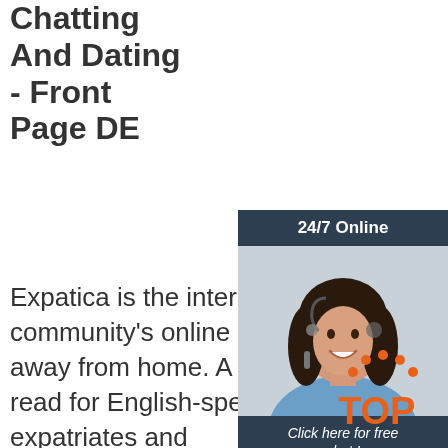Chatting And Dating - Front Page DE
Expatica is the international community's online home away from home. A must-read for English-speaking expatriates and internationals across Europe,
[Figure (infographic): Ad banner with dark navy background. Top bar reads '24/7 Online'. Center shows a photo of a smiling woman with a headset. Bottom dark section reads 'Click here for free chat!' with an orange 'QUOTATION' button.]
[Figure (logo): TOP logo: orange dotted arc above bold orange text 'TOP']